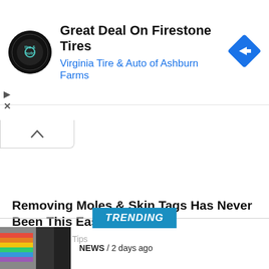[Figure (logo): Virginia Tire & Auto circular logo with tire & auto text]
Great Deal On Firestone Tires
Virginia Tire & Auto of Ashburn Farms
[Figure (other): Blue diamond navigation/directions icon with right arrow]
[Figure (other): Play button and X (close) ad controls]
[Figure (other): Collapse/up-arrow button panel]
Removing Moles & Skin Tags Has Never Been This Easy
Healthier Living Tips
TRENDING
NEWS / 2 days ago